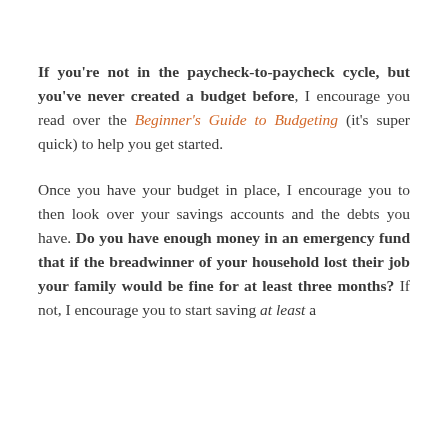If you're not in the paycheck-to-paycheck cycle, but you've never created a budget before, I encourage you read over the Beginner's Guide to Budgeting (it's super quick) to help you get started.
Once you have your budget in place, I encourage you to then look over your savings accounts and the debts you have. Do you have enough money in an emergency fund that if the breadwinner of your household lost their job your family would be fine for at least three months? If not, I encourage you to start saving at least a